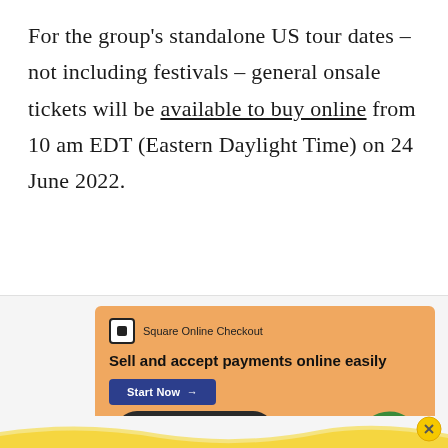For the group's standalone US tour dates – not including festivals – general onsale tickets will be available to buy online from 10 am EDT (Eastern Daylight Time) on 24 June 2022.
[Figure (screenshot): Square Online Checkout advertisement banner showing 'Sell and accept payments online easily' with a Start Now button, a phone mockup displaying a potted plant product for $15.00 labeled Potted Ornatum, and real plants in the background on an orange/peach background.]